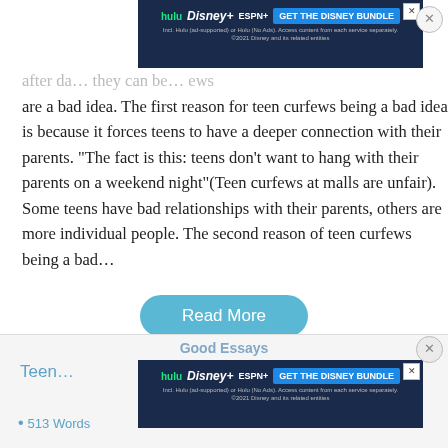after da... they can be... ews are a bad idea. The first reason for teen curfews being a bad idea is because it forces teens to have a deeper connection with their parents. “The fact is this: teens don’t want to hang with their parents on a weekend night”(Teen curfews at malls are unfair). Some teens have bad relationships with their parents, others are more individual people. The second reason of teen curfews being a bad…
[Figure (screenshot): Advertisement banner for Disney Bundle featuring Hulu, Disney+, and ESPN+ logos with 'GET THE DISNEY BUNDLE' call-to-action button and fine print text.]
Read More
Good Essays
Teen...
513 Words
[Figure (screenshot): Second advertisement banner for Disney Bundle featuring Hulu, Disney+, and ESPN+ logos with 'GET THE DISNEY BUNDLE' call-to-action button and fine print text.]